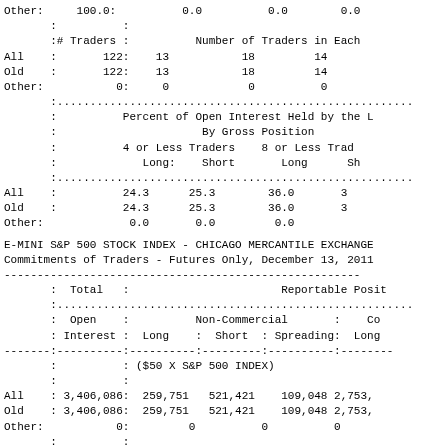| Other: | 100.0: | 0.0 | 0.0 | 0.0 |
|  | : | : |
| :# Traders : |  | Number of Traders in Each |
| All : | 122: | 13 | 18 | 14 |
| Old : | 122: | 13 | 18 | 14 |
| Other: | 0: | 0 | 0 | 0 |
|  | Percent of Open Interest Held by the |
|  | By Gross Position |
|  | 4 or Less Traders | 8 or Less Trad |
|  | Long: | Short | Long | Sh |
| All : | 24.3 | 25.3 | 36.0 | 3 |
| Old : | 24.3 | 25.3 | 36.0 | 3 |
| Other: | 0.0 | 0.0 | 0.0 |
E-MINI S&P 500 STOCK INDEX - CHICAGO MERCANTILE EXCHANGE
Commitments of Traders - Futures Only, December 13, 2011
| : Total : | Reportable Posit |
| --- | --- |
| : Open : | Non-Commercial : | Co |
| : Interest : | Long : | Short : Spreading: | Long |
|  | ($50 X S&P 500 INDEX) |
| All : 3,406,086: | 259,751 | 521,421 | 109,048 | 2,753, |
| Old : 3,406,086: | 259,751 | 521,421 | 109,048 | 2,753, |
| Other: | 0: | 0 | 0 | 0 |
|  | Changes in Commitments from |